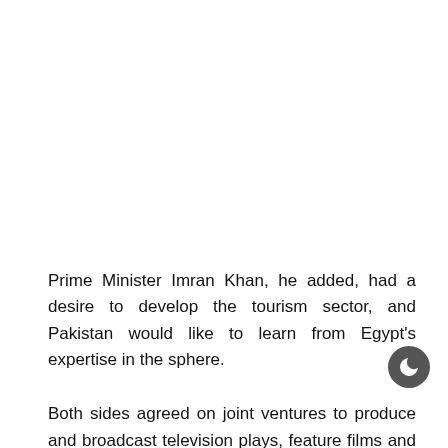Prime Minister Imran Khan, he added, had a desire to develop the tourism sector, and Pakistan would like to learn from Egypt's expertise in the sphere.
Both sides agreed on joint ventures to produce and broadcast television plays, feature films and documentaries on reciprocal basis to promote religious and cultural traditions that the two brotherly Muslim countries shared in